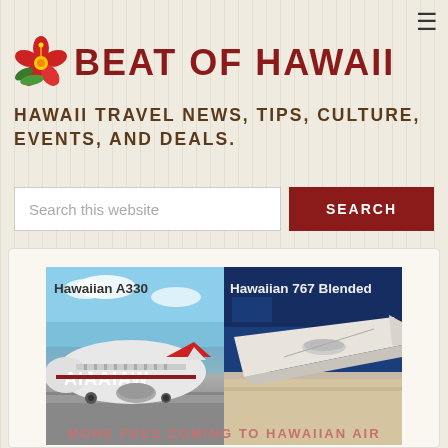[Figure (logo): Beat of Hawaii logo with red hibiscus flower and bold red uppercase text 'BEAT OF HAWAii']
HAWAii TRAVEL NEWS, TiPS, CULTURE, EVENTS, AND DEALS.
Search this website
[Figure (photo): Two side-by-side airplane photos. Left: Hawaiian Airlines A330 on tarmac under blue sky, labeled 'Hawaiian A330'. Right: Wing view of Hawaiian 767 in flight against deep blue sky, labeled 'Hawaiian 767 Blended'.]
MORE FEES COMING TO HAWAiiAN AIR